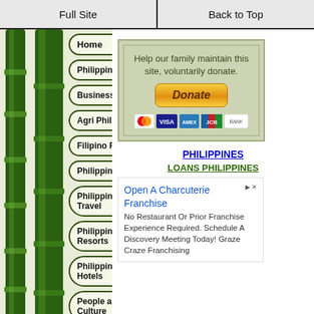Full Site | Back to Top
Home
Philippines Gov
Business Ideas
Agri Philippines
Filipino Recipes
Philippines Jobs
Philippines Travel
Philippine Resorts
Philippines Hotels
People and Culture
Help our family maintain this site, voluntarily donate.
PHILIPPINES
LOANS PHILIPPINES
Open A Charcuterie Franchise
No Restaurant Or Prior Franchise Experience Required. Schedule A Discovery Meeting Today! Graze Craze Franchising